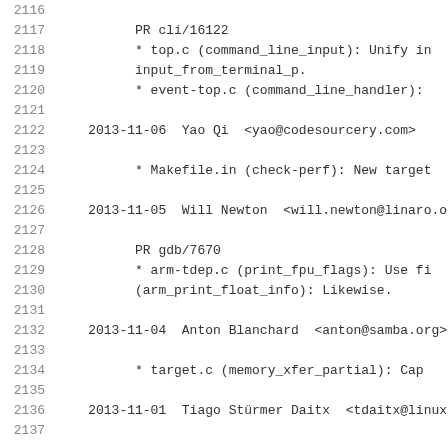2116 (empty line)
2117     PR cli/16122
2118     * top.c (command_line_input): Unify in
2119     input_from_terminal_p.
2120     * event-top.c (command_line_handler):
2121 (empty line)
2122 2013-11-06  Yao Qi  <yao@codesourcery.com>
2123 (empty line)
2124     * Makefile.in (check-perf): New target
2125 (empty line)
2126 2013-11-05  Will Newton  <will.newton@linaro.o
2127 (empty line)
2128     PR gdb/7670
2129     * arm-tdep.c (print_fpu_flags): Use fi
2130     (arm_print_float_info): Likewise.
2131 (empty line)
2132 2013-11-04  Anton Blanchard  <anton@samba.org>
2133 (empty line)
2134     * target.c (memory_xfer_partial): Cap
2135 (empty line)
2136 2013-11-01  Tiago Stürmer Daitx  <tdaitx@linux
2137 (empty line)